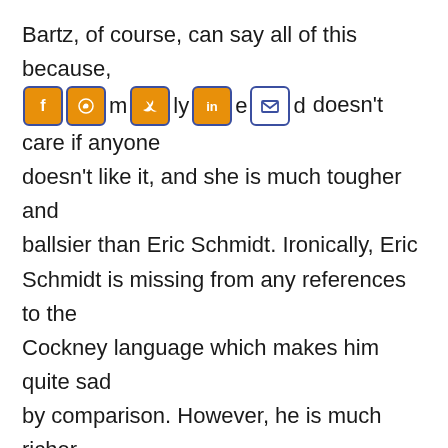Bartz, of course, can say all of this because, mostly, and doesn't care if anyone doesn't like it, and she is much tougher and ballsier than Eric Schmidt. Ironically, Eric Schmidt is missing from any references to the Cockney language which makes him quite sad by comparison. However, he is much richer than Bartz so, it all evens out in the end. Way to go glass roof!
You will have to read the rest of the article at the BBC because, our Cockney rhyming slang editor, Abdul Abulbul Amir, just died. Sad, but true.